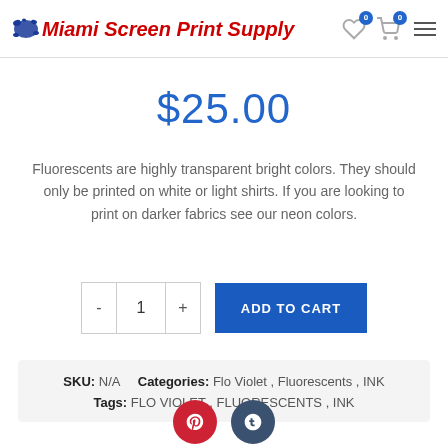Miami Screen Print Supply
$25.00
Fluorescents are highly transparent bright colors. They should only be printed on white or light shirts. If you are looking to print on darker fabrics see our neon colors.
SKU: N/A   Categories: Flo Violet, Fluorescents, INK
Tags: FLO VIOLET, FLUORESCENTS, INK